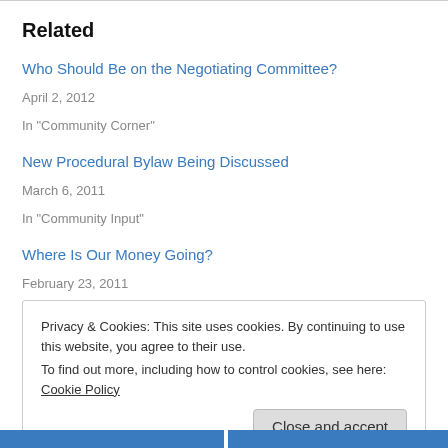Related
Who Should Be on the Negotiating Committee?
April 2, 2012
In "Community Corner"
New Procedural Bylaw Being Discussed
March 6, 2011
In "Community Input"
Where Is Our Money Going?
February 23, 2011
In "Charitable Programs"
Privacy & Cookies: This site uses cookies. By continuing to use this website, you agree to their use.
To find out more, including how to control cookies, see here: Cookie Policy
Close and accept